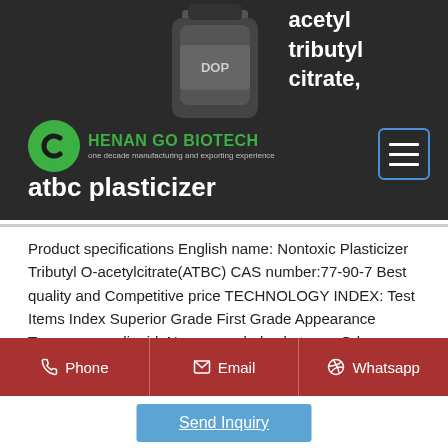[Figure (screenshot): Dark background header area with bottle product image labeled DOP, Henan Go Biotech logo (green circle with C shape and green text), menu icon (three horizontal lines in blue border), text 'acetyl tributyl citrate' on right side, and product title 'atbc plasticizer' in white bold text]
Product specifications English name: Nontoxic Plasticizer Tributyl O-acetylcitrate(ATBC) CAS number:77-90-7 Best quality and Competitive price TECHNOLOGY INDEX: Test Items Index Superior Grade First Grade Appearance Transparency liquid, No suspended substance Odor odorless Purity Wt% &ge; 99.0 98.5 Chroma,(Platinum-cobalt)&le; 30 50 Acidity,
Phone | Email | Whatsapp
Send Inquiry